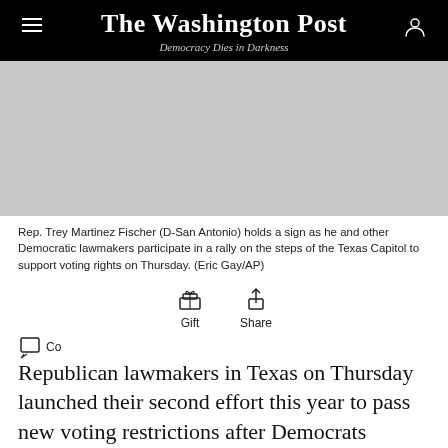The Washington Post — Democracy Dies in Darkness
[Figure (photo): Blank/gray photo placeholder area showing a rally scene (image not loaded)]
Rep. Trey Martinez Fischer (D-San Antonio) holds a sign as he and other Democratic lawmakers participate in a rally on the steps of the Texas Capitol to support voting rights on Thursday. (Eric Gay/AP)
Republican lawmakers in Texas on Thursday launched their second effort this year to pass new voting restrictions after Democrats blocked them in May with a dramatic walkout at the state Capitol.